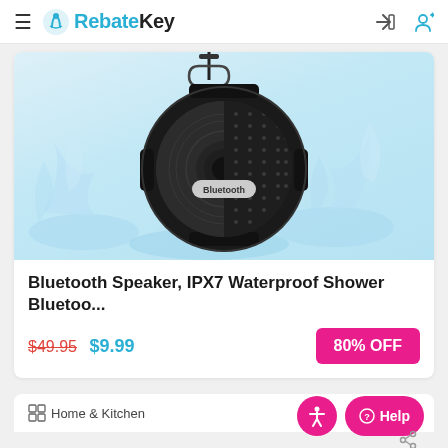RebateKey
[Figure (photo): A black Bluetooth waterproof speaker surrounded by water splashes on a light blue background]
Bluetooth Speaker, IPX7 Waterproof Shower Bluetoo...
$49.95 $9.99 80% OFF
Home & Kitchen